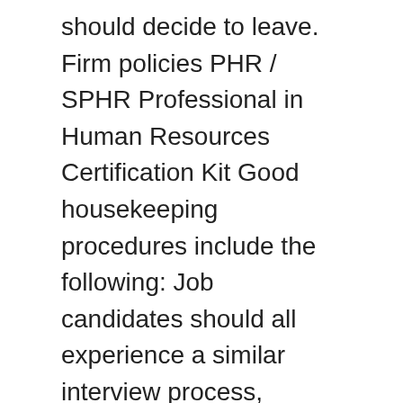should decide to leave. Firm policies PHR / SPHR Professional in Human Resources Certification Kit Good housekeeping procedures include the following: Job candidates should all experience a similar interview process, starting with an introduction and review of the job Give us 5 days, and we'll help you write better policies. Mark Stein and Lilith Christiansen building. In order to understand why policies and procedures are so important we need to know what they are, and the differences between them. When you streamline your training, your employees will be better equipped to follow policies and procedures. The responsibility of housekeeping and cleanliness lies both with the